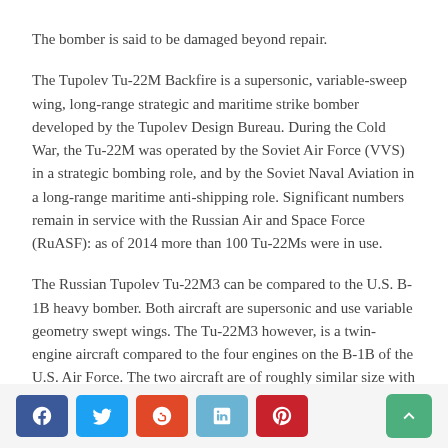The bomber is said to be damaged beyond repair.
The Tupolev Tu-22M Backfire is a supersonic, variable-sweep wing, long-range strategic and maritime strike bomber developed by the Tupolev Design Bureau. During the Cold War, the Tu-22M was operated by the Soviet Air Force (VVS) in a strategic bombing role, and by the Soviet Naval Aviation in a long-range maritime anti-shipping role. Significant numbers remain in service with the Russian Air and Space Force (RuASF): as of 2014 more than 100 Tu-22Ms were in use.
The Russian Tupolev Tu-22M3 can be compared to the U.S. B-1B heavy bomber. Both aircraft are supersonic and use variable geometry swept wings. The Tu-22M3 however, is a twin-engine aircraft compared to the four engines on the B-1B of the U.S. Air Force. The two aircraft are of roughly similar size with the Tu-22M3 being slightly smaller than it's U.S. counterpart, the B-1B.
Social share buttons: Facebook, Twitter, StumbleUpon, LinkedIn, Pinterest